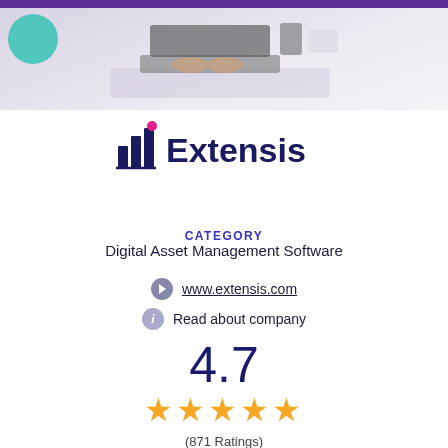[Figure (photo): Hero banner with purple bar at top, decorative teal shapes, and a photo of a person working on a laptop with papers, on a light background]
[Figure (logo): Extensis logo: a bar chart icon with a pink/magenta accent dot and the word 'Extensis' in dark navy bold text]
CATEGORY
Digital Asset Management Software
www.extensis.com
Read about company
4.7
★★★★★
(871 Ratings)